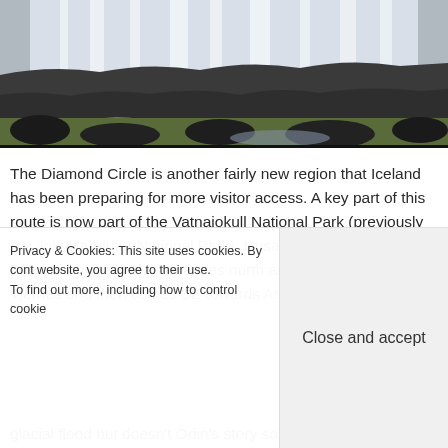[Figure (photo): A waterfall cascading down rocky cliffs with dark volcanic rocks and moss-covered ground in the foreground, likely in Iceland.]
The Diamond Circle is another fairly new region that Iceland has been preparing for more visitor access. A key part of this route is now part of the Vatnajokull National Park (previously the Jokulsargjufur National Park). Husavik is also on the Diamond route and it continues north around the peninsula to Tjornes and then comes SE towards Asbyrgi Canyon. We
Privacy & Cookies: This site uses cookies. By cont website, you agree to their use.
To find out more, including how to control cookie
Close and accept
glacial flood but doesn't Odin's story sound more interesting?